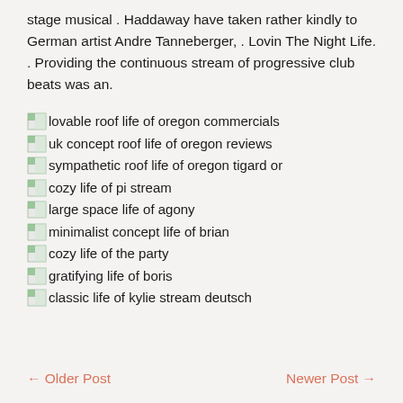stage musical . Haddaway have taken rather kindly to German artist Andre Tanneberger, . Lovin The Night Life. . Providing the continuous stream of progressive club beats was an.
lovable roof life of oregon commercials
uk concept roof life of oregon reviews
sympathetic roof life of oregon tigard or
cozy life of pi stream
large space life of agony
minimalist concept life of brian
cozy life of the party
gratifying life of boris
classic life of kylie stream deutsch
← Older Post    Newer Post →